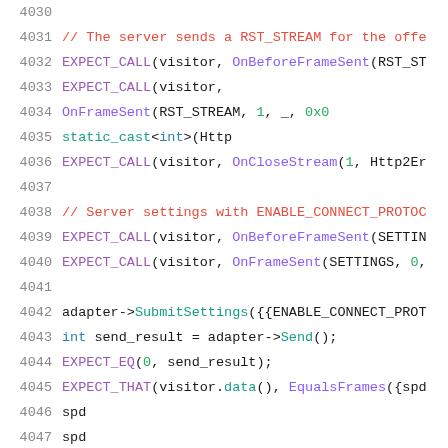[Figure (screenshot): Source code listing showing C++ test code with line numbers 4030-4051. The code uses Google Mock EXPECT_CALL, EXPECT_EQ, EXPECT_THAT macros and various HTTP/2 related function calls including RST_STREAM handling, server settings with ENABLE_CONNECT_PROTOCOL, SubmitSettings, Send, and EqualsFrames. Colors indicate syntax highlighting: red for comments, purple for macros/functions, blue for types, green for numbers, teal for method calls.]